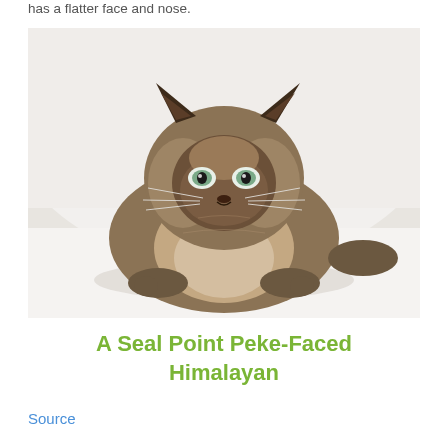has a flatter face and nose.
[Figure (photo): A Seal Point Peke-Faced Himalayan cat lying on a white surface, facing the camera. The cat has dark seal-colored points on its face, ears, and paws, with a fluffy cream and brown body, flat face, and blue-green eyes.]
A Seal Point Peke-Faced Himalayan
Source